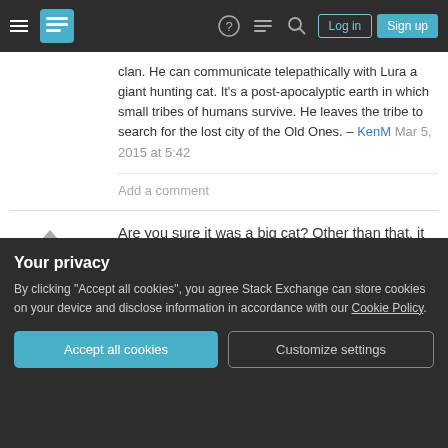Stack Exchange navigation bar with hamburger menu, logo, help, chat, search icons, Log in and Sign up buttons
clan. He can communicate telepathically with Lura a giant hunting cat. It's a post-apocalyptic earth in which small tribes of humans survive. He leaves the tribe to search for the lost city of the Old Ones. – KenM Mar 5, 2015 at 5:42
Add a comment
Are you sure it was a big cat? Other than that, it sounds very similar premise to 'A boy and his dog' - 1969 novel by Harlan Ellison with a 1975 film adaptation. (later books act as prequel and sequel)
Your privacy
By clicking "Accept all cookies", you agree Stack Exchange can store cookies on your device and disclose information in accordance with our Cookie Policy.
Improve this answer   Steve Kersley